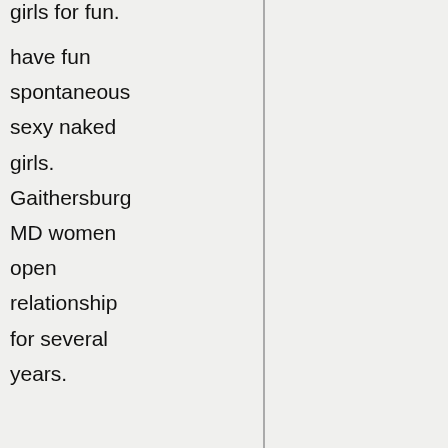| girls for fun. |  |  |
| have fun |  |  |
| spontaneous |  |  |
| sexy naked |  |  |
| girls. |  |  |
| Gaithersburg |  |  |
| MD women |  |  |
| open |  |  |
| relationship |  |  |
| for several |  |  |
| years. |  |  |